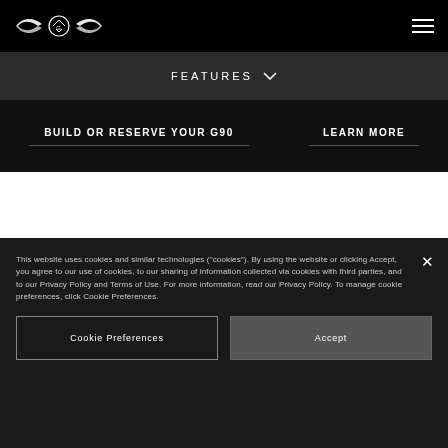Genesis logo and navigation menu
FEATURES
BUILD OR RESERVE YOUR G90
LEARN MORE
FEATURES
This website uses cookies and similar technologies ("cookies"). By using the website or clicking Accept, you agree to our use of cookies, to our sharing of information collected via cookies with third parties, and to our Privacy Policy and Terms of Use. For more information, read our Privacy Policy. To manage cookie preferences, click Cookie Preferences.
Cookie Preferences
Accept